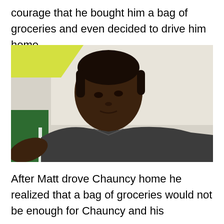courage that he bought him a bag of groceries and even decided to drive him home.
[Figure (photo): A young Black man in a dark gray t-shirt, seated, looking slightly to the side. Background shows a light wall with a yellow-green element in the upper left corner and a green surface behind him on the left.]
After Matt drove Chauncy home he realized that a bag of groceries would not be enough for Chauncy and his